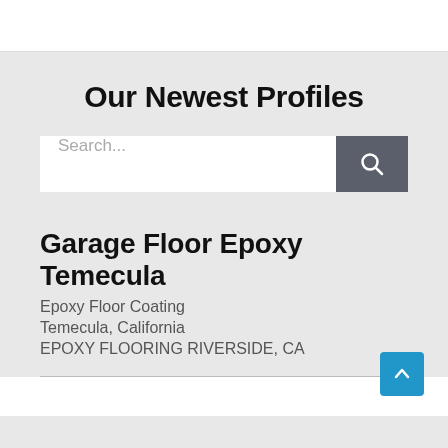Our Newest Profiles
[Figure (screenshot): Search bar with text input showing placeholder 'Search...' and a dark gray search button with magnifying glass icon]
Garage Floor Epoxy Temecula
Epoxy Floor Coating
Temecula, California
EPOXY FLOORING RIVERSIDE, CA